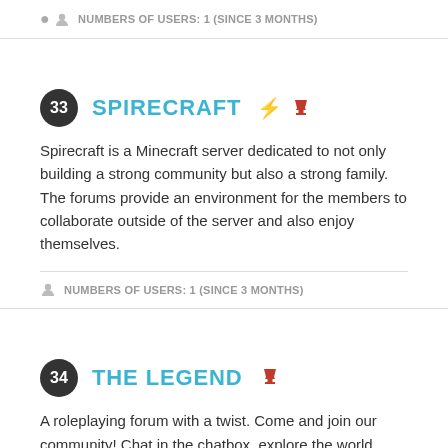NUMBERS OF USERS: 1 (SINCE 3 MONTHS)
33 SPIRECRAFT
Spirecraft is a Minecraft server dedicated to not only building a strong community but also a strong family. The forums provide an environment for the members to collaborate outside of the server and also enjoy themselves.
NUMBERS OF USERS: 1 (SINCE 3 MONTHS)
34 THE LEGEND
A roleplaying forum with a twist. Come and join our community! Chat in the chatbox, explore the world, fight in the Arena, create a guild, and much more. Become a Legend, or start one.